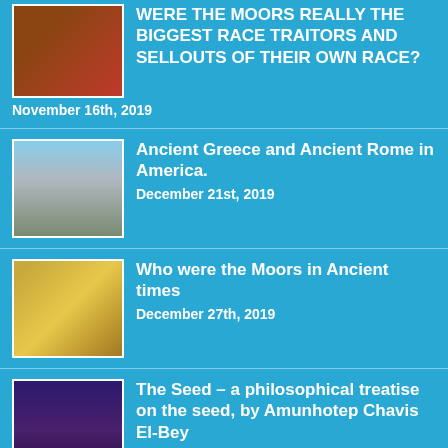WERE THE MOORS REALLY THE BIGGEST RACE TRAITORS AND SELLOUTS OF THEIR OWN RACE?
November 16th, 2019
Ancient Greece and Ancient Rome in America.
December 21st, 2019
Who were the Moors in Ancient times
December 27th, 2019
The Seed – a philosophical treatise on the seed, by Amunhotep Chavis El-Bey
December 4th, 2019
How to become a divine ancestor